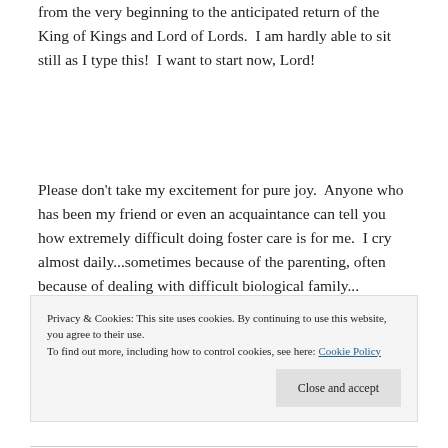from the very beginning to the anticipated return of the King of Kings and Lord of Lords.  I am hardly able to sit still as I type this!  I want to start now, Lord!
Please don't take my excitement for pure joy.  Anyone who has been my friend or even an acquaintance can tell you how extremely difficult doing foster care is for me.  I cry almost daily...sometimes because of the parenting, often because of dealing with difficult biological family...
Privacy & Cookies: This site uses cookies. By continuing to use this website, you agree to their use.
To find out more, including how to control cookies, see here: Cookie Policy
Close and accept